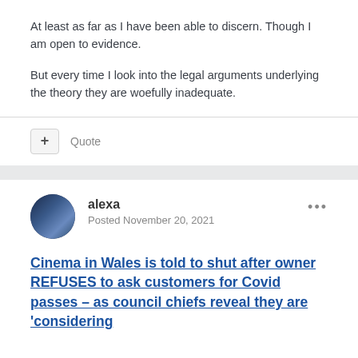At least as far as I have been able to discern. Though I am open to evidence.
But every time I look into the legal arguments underlying the theory they are woefully inadequate.
Quote
alexa
Posted November 20, 2021
Cinema in Wales is told to shut after owner REFUSES to ask customers for Covid passes - as council chiefs reveal they are 'considering